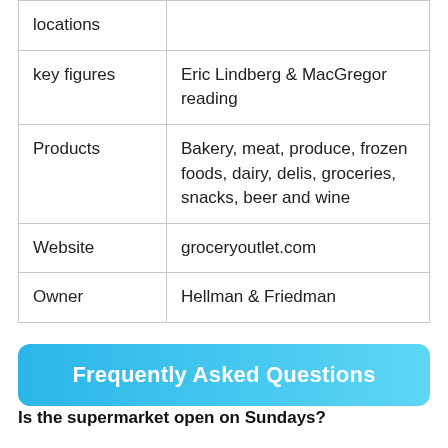| locations |  |
| key figures | Eric Lindberg & MacGregor reading |
| Products | Bakery, meat, produce, frozen foods, dairy, delis, groceries, snacks, beer and wine |
| Website | groceryoutlet.com |
| Owner | Hellman & Friedman |
Frequently Asked Questions
Is the supermarket open on Sundays?